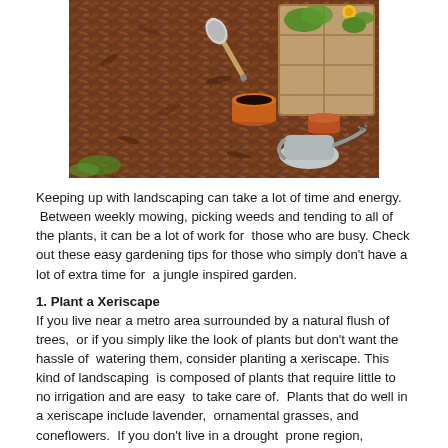[Figure (photo): A garden photo showing wood chip mulch spread across the ground, with a metal trowel, terracotta pots, a watering can, and a wooden crate containing plants with green leaves and yellow flowers.]
Keeping up with landscaping can take a lot of time and energy. Between weekly mowing, picking weeds and tending to all of the plants, it can be a lot of work for those who are busy. Check out these easy gardening tips for those who simply don't have a lot of extra time for a jungle inspired garden.
1. Plant a Xeriscape
If you live near a metro area surrounded by a natural flush of trees, or if you simply like the look of plants but don't want the hassle of watering them, consider planting a xeriscape. This kind of landscaping is composed of plants that require little to no irrigation and are easy to take care of. Plants that do well in a xeriscape include lavender, ornamental grasses, and coneflowers. If you don't live in a drought prone region, consider planting